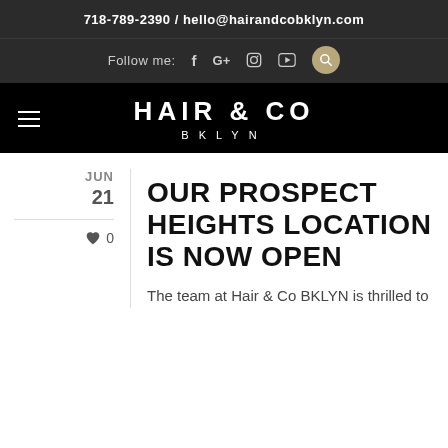718-789-2390 / hello@hairandcobklyn.com
Follow me: f G+ [instagram] [youtube] [search]
HAIR & CO BKLYN
JUN 21
0
OUR PROSPECT HEIGHTS LOCATION IS NOW OPEN
The team at Hair & Co BKLYN is thrilled to